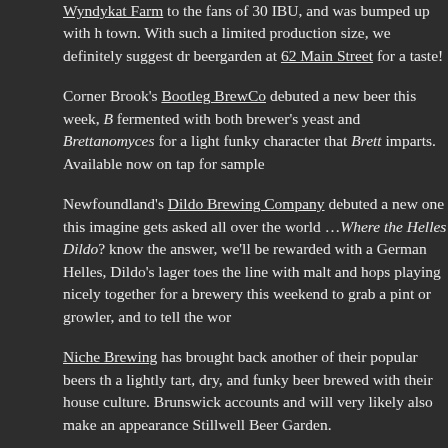Wyndykat Farm to the fans of 30 IBU, and was bumped up with h town. With such a limited production size, we definitely suggest dr beergarden at 62 Main Street for a taste!
Corner Brook's Bootleg BrewCo debuted a new beer this week, B fermented with both brewer's yeast and Brettanomyces for a light funky character that Brett imparts. Available now on tap for sample
Newfoundland's Dildo Brewing Company debuted a new one this imagine gets asked all over the world …Where the Helles Dildo? know the answer, we'll be rewarded with a German Helles, Dildo's lager toes the line with malt and hops playing nicely together for a brewery this weekend to grab a pint or growler, and to tell the wor
Niche Brewing has brought back another of their popular beers th a lightly tart, dry, and funky beer brewed with their house culture. Brunswick accounts and will very likely also make an appearance Stillwell Beer Garden.
Ninepenny Brewing in Conception Bay South has a brand new be Ale is a 5.0% ABV brew reminiscent of those in Europe, with notes along with a complementing yeast character. As always, the best